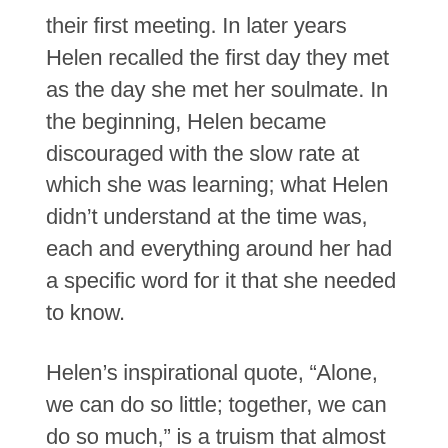their first meeting. In later years Helen recalled the first day they met as the day she met her soulmate. In the beginning, Helen became discouraged with the slow rate at which she was learning; what Helen didn't understand at the time was, each and everything around her had a specific word for it that she needed to know.
Helen's inspirational quote, “Alone, we can do so little; together, we can do so much,” is a truism that almost every person would recognize as being genuine. Helen discovered the critical lesson that as individuals, we could change small things around us, but to change the world, we must put our differences aside and come together to achieve a